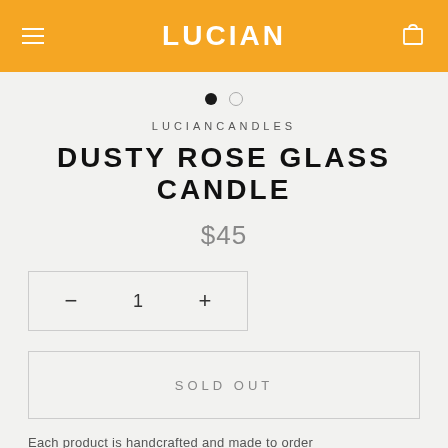LUCIAN
[Figure (other): Carousel navigation dots: one filled black dot and one empty circle dot]
LUCIANCANDLES
DUSTY ROSE GLASS CANDLE
$45
[Figure (other): Quantity selector with minus button, number 1, and plus button inside a bordered box]
SOLD OUT
Each product is handcrafted and made to order